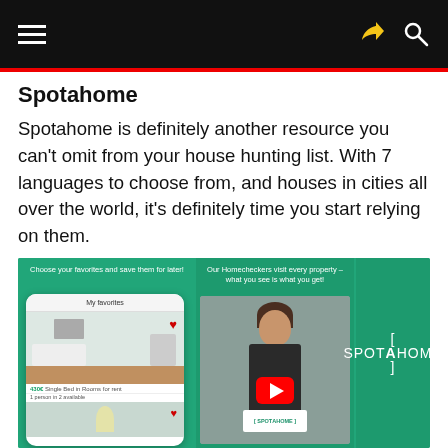Navigation bar with hamburger menu, share icon, and search icon
Spotahome
Spotahome is definitely another resource you can't omit from your house hunting list. With 7 languages to choose from, and houses in cities all over the world, it's definitely time you start relying on them.
[Figure (screenshot): Spotahome app screenshot showing a green banner with two panels: left panel shows a phone app screen with property listings and favorites, middle panel shows a video thumbnail with a person holding a Spotahome sign with a YouTube play button, right panel shows the Spotahome logo in white on green background. Captions read 'Choose your favorites and save them for later!' and 'Our Homecheckers visit every property – what you see is what you get!']